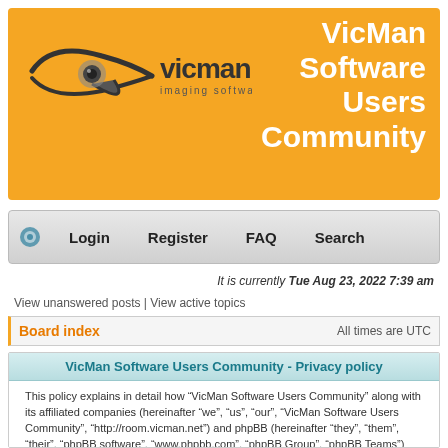[Figure (logo): VicMan imaging software logo with stylized eye/lens icon and text 'vicman imaging software' on an orange banner background]
VicMan Software Users Community
Login  Register  FAQ  Search
It is currently Tue Aug 23, 2022 7:39 am
View unanswered posts | View active topics
Board index
All times are UTC
VicMan Software Users Community - Privacy policy
This policy explains in detail how “VicMan Software Users Community” along with its affiliated companies (hereinafter “we”, “us”, “our”, “VicMan Software Users Community”, “http://room.vicman.net”) and phpBB (hereinafter “they”, “them”, “their”, “phpBB software”, “www.phpbb.com”, “phpBB Group”, “phpBB Teams”) use any information collected during any session of usage by you (hereinafter “your information”).
Your information is collected via two ways. Firstly, by browsing “VicMan Software Users Community” will cause the phpBB software to create a number of cookies, which are small text files that...